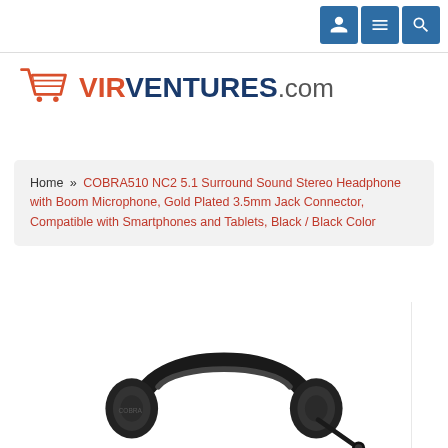VIRVENTUREScom — navigation icons (user, list, search)
[Figure (logo): VirVentures.com logo with orange shopping cart icon and bold blue/red text]
Home » COBRA510 NC2 5.1 Surround Sound Stereo Headphone with Boom Microphone, Gold Plated 3.5mm Jack Connector, Compatible with Smartphones and Tablets, Black / Black Color
[Figure (photo): Black over-ear headphones with boom microphone, photographed on white background, bottom portion visible]